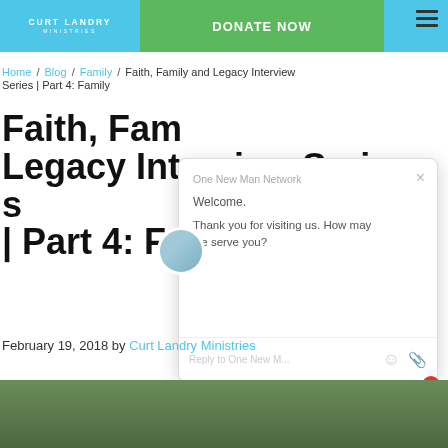Curt Landry Ministries — DONATE NOW
Home / Blog / Family / Faith, Family and Legacy Interview Series | Part 4: Family
Faith, Family and Legacy Interview Series | Part 4: Family
[Figure (screenshot): Chat popup from One New Man Network with greeting: Welcome. Thank you for visiting us. How may we serve you? Reply input box with emoji and attachment icons.]
February 19, 2018 by Curt Landry Ministries